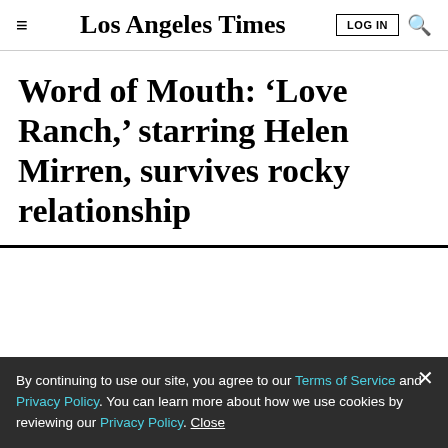Los Angeles Times
Word of Mouth: ‘Love Ranch,’ starring Helen Mirren, survives rocky relationship
LIMITED-TIME OFFER
$1 for 6 Months
SUBSCRIBE NOW
By continuing to use our site, you agree to our Terms of Service and Privacy Policy. You can learn more about how we use cookies by reviewing our Privacy Policy. Close